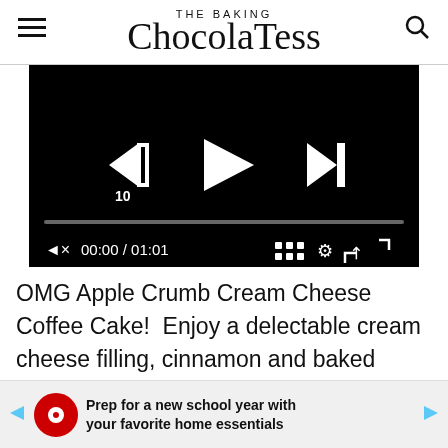THE BAKING ChocolaTess
[Figure (screenshot): Video player with black background showing media controls: rewind 10s button, play button, skip-to-end button, progress bar at 0%, mute button, time display 00:00 / 01:01, grid/chapters button, settings gear button, fullscreen button]
OMG Apple Crumb Cream Cheese Coffee Cake!  Enjoy a delectable cream cheese filling, cinnamon and baked apple slices throughout this buttery, lush coffee cake with the crumble topping...